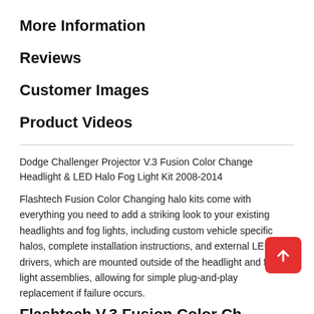More Information
Reviews
Customer Images
Product Videos
Dodge Challenger Projector V.3 Fusion Color Change Headlight & LED Halo Fog Light Kit 2008-2014
Flashtech Fusion Color Changing halo kits come with everything you need to add a striking look to your existing headlights and fog lights, including custom vehicle specific halos, complete installation instructions, and external LED drivers, which are mounted outside of the headlight and fog light assemblies, allowing for simple plug-and-play replacement if failure occurs.
Flashtech V.3 Fusion Color Ch…